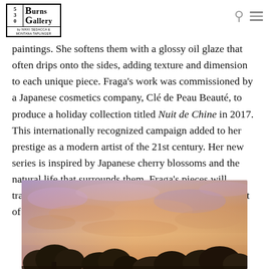530 Burns Gallery by Nikki Sedacca & Montana Taplinger
paintings. She softens them with a glossy oil glaze that often drips onto the sides, adding texture and dimension to each unique piece. Fraga's work was commissioned by a Japanese cosmetics company, Clé de Peau Beauté, to produce a holiday collection titled Nuit de Chine in 2017. This internationally recognized campaign added to her prestige as a modern artist of the 21st century. Her new series is inspired by Japanese cherry blossoms and the natural life that surrounds them. Fraga's pieces will transform any room into a place of happiness with a hint of relaxation.
[Figure (photo): Painting of trees with dark foliage against a warm sunset sky with purple, orange, and golden tones — an impressionistic landscape artwork.]